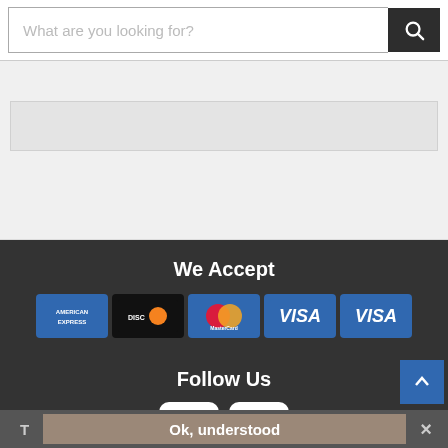What are you looking for?
People who bought this also bought
[Figure (screenshot): Empty product recommendations placeholder area]
We Accept
[Figure (infographic): Payment method icons: American Express, Discover, MasterCard, Visa, Visa]
Follow Us
[Figure (infographic): Social media icons: Facebook and Twitter]
T   Ok, understood   ×